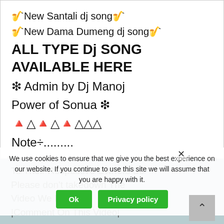🎵New Santali dj song🎵
🎵New Dama Dumeng dj song🎵
ALL TYPE Dj SONG AVAILABLE HERE
❋ Admin by Dj Manoj
Power of Sonua ❋
🔺🔺🔺🔺🔺
Note÷.........
Image & original song Used In
This Video My Be Copyrighted
To Their Respective Owners So
Please don't takedown The
Video We Requ
We use cookies to ensure that we give you the best experience on our website. If you continue to use this site we will assume that you are happy with it.
Ok
Privacy policy